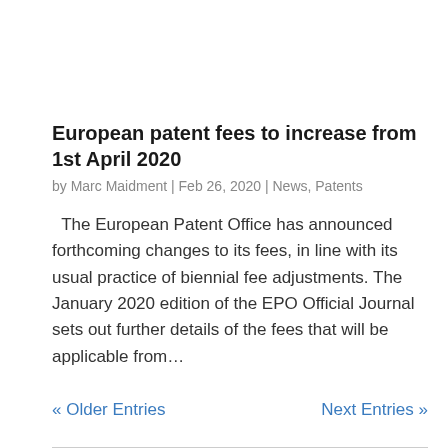European patent fees to increase from 1st April 2020
by Marc Maidment | Feb 26, 2020 | News, Patents
The European Patent Office has announced forthcoming changes to its fees, in line with its usual practice of biennial fee adjustments. The January 2020 edition of the EPO Official Journal sets out further details of the fees that will be applicable from...
« Older Entries    Next Entries »